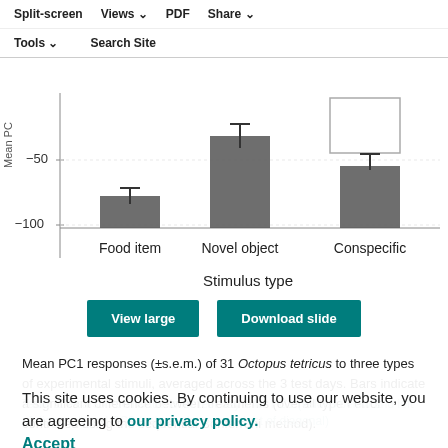Split-screen  Views  PDF  Share  Tools  Search Site
[Figure (bar-chart): Partial bar chart visible, y-axis shows -100 and -50 labels. Three stimulus types on x-axis.]
View large   Download slide
Mean PC1 responses (±s.e.m.) of 31 Octopus tetricus to three types of experimental stimuli, averaged across the 3 test days. Bars indicate a significant difference between treatments (overall type I error controlled using the sequential Bonferroni method).
This site uses cookies. By continuing to use our website, you are agreeing to our privacy policy.
Accept
Table 2: Pearson correlations for test day 1 for PC1 (values below and left of diagonal) and PC2 (values above and right of diagonal)